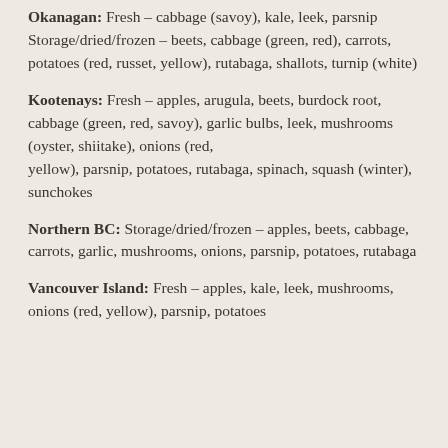Okanagan: Fresh – cabbage (savoy), kale, leek, parsnip Storage/dried/frozen – beets, cabbage (green, red), carrots, potatoes (red, russet, yellow), rutabaga, shallots, turnip (white)
Kootenays: Fresh – apples, arugula, beets, burdock root, cabbage (green, red, savoy), garlic bulbs, leek, mushrooms (oyster, shiitake), onions (red, yellow), parsnip, potatoes, rutabaga, spinach, squash (winter), sunchokes
Northern BC: Storage/dried/frozen – apples, beets, cabbage, carrots, garlic, mushrooms, onions, parsnip, potatoes, rutabaga
Vancouver Island: Fresh – apples, kale, leek, mushrooms, onions (red, yellow), parsnip, potatoes